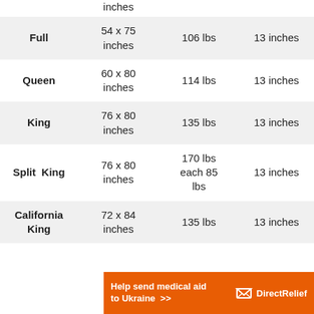|  | inches |  |  |
| --- | --- | --- | --- |
| Full | 54 x 75 inches | 106 lbs | 13 inches |
| Queen | 60 x 80 inches | 114 lbs | 13 inches |
| King | 76 x 80 inches | 135 lbs | 13 inches |
| Split King | 76 x 80 inches | 170 lbs each 85 lbs | 13 inches |
| California King | 72 x 84 inches | 135 lbs | 13 inches |
[Figure (other): Orange advertisement banner: 'Help send medical aid to Ukraine >>' with Direct Relief logo]